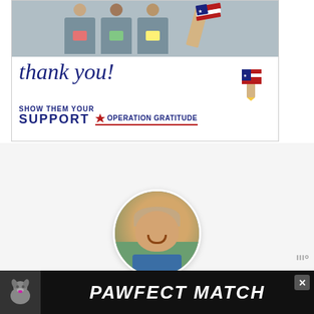[Figure (illustration): Operation Gratitude promotional image showing healthcare workers holding cards, with cursive 'thank you!' text, a pencil graphic with American flag design, bold text 'SHOW THEM YOUR SUPPORT' and the Operation Gratitude logo with star and red swoosh]
[Figure (photo): Circular profile photo of a smiling middle-aged man with light hair, outdoors with greenery behind him]
MARQUES THOMAS
[Figure (illustration): Advertisement banner: dark background with dog illustration on left and bold italic white text 'PAWFECT MATCH' with an X close button]